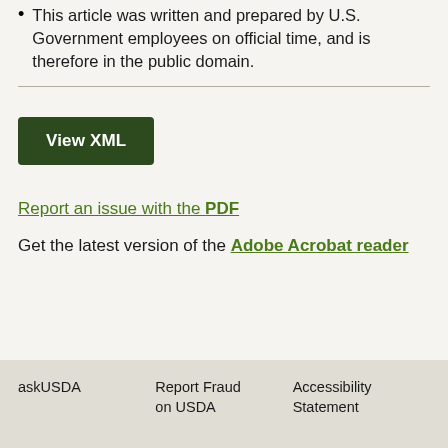This article was written and prepared by U.S. Government employees on official time, and is therefore in the public domain.
View XML
Report an issue with the PDF
Get the latest version of the Adobe Acrobat reader
askUSDA   Report Fraud on USDA   Accessibility Statement